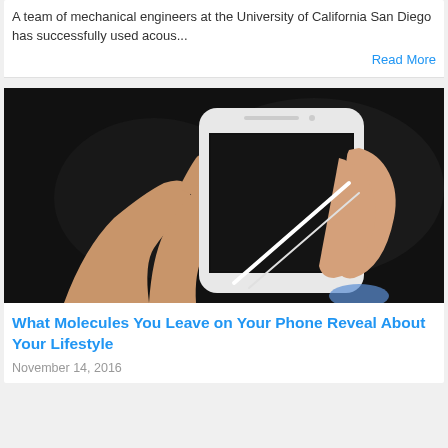A team of mechanical engineers at the University of California San Diego has successfully used acous...
Read More
[Figure (photo): A hand holding a white smartphone against a dark background, with what appears to be a swab or stick touching the phone screen.]
What Molecules You Leave on Your Phone Reveal About Your Lifestyle
November 14, 2016